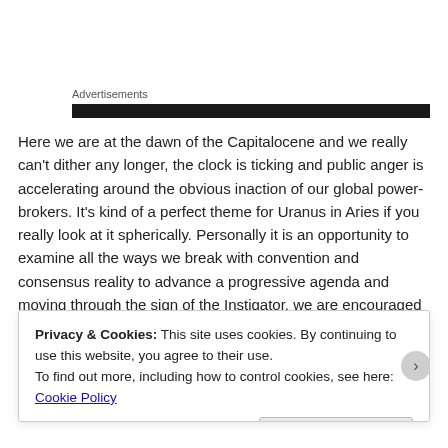Advertisements
Here we are at the dawn of the Capitalocene and we really can't dither any longer, the clock is ticking and public anger is accelerating around the obvious inaction of our global power-brokers. It's kind of a perfect theme for Uranus in Aries if you really look at it spherically. Personally it is an opportunity to examine all the ways we break with convention and consensus reality to advance a progressive agenda and moving through the sign of the Instigator, we are encouraged to strategize all the ways in which we could spark much needed rebellion. General Strike anyone?
Privacy & Cookies: This site uses cookies. By continuing to use this website, you agree to their use.
To find out more, including how to control cookies, see here: Cookie Policy
Close and accept